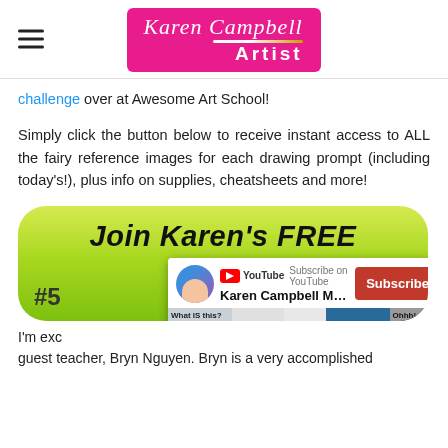[Figure (logo): Karen Campbell Artist logo — pink/magenta rounded rectangle with cursive 'Karen Campbell' text and bold 'Artist' text, with a brush stroke line]
challenge over at Awesome Art School!
Simply click the button below to receive instant access to ALL the fairy reference images for each drawing prompt (including today's!), plus info on supplies, cheatsheets and more!
[Figure (screenshot): Green rounded button with bold italic text 'Join Karen's FREE' and a YouTube subscription popup overlay showing Karen Campbell MIXED ... channel with Subscribe button and video thumbnail collage. '#5' badge visible bottom left. 'X CLOSE' button at bottom right of popup.]
I'm exc
guest teacher, Bryn Nguyen. Bryn is a very accomplished